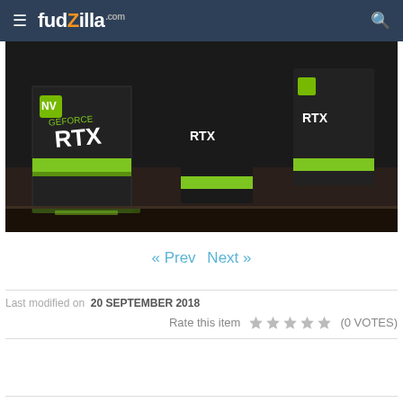fudzilla.com
[Figure (photo): NVIDIA GeForce RTX graphics card boxes displayed on a dark shelf, with green LED lighting accents visible]
« Prev  Next »
Last modified on  20 SEPTEMBER 2018
Rate this item  ★★★★★ (0 VOTES)